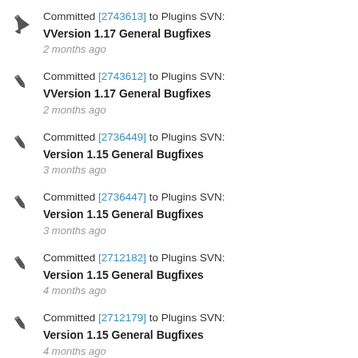Committed [2743613] to Plugins SVN: VVersion 1.17 General Bugfixes — 2 months ago
Committed [2743612] to Plugins SVN: VVersion 1.17 General Bugfixes — 2 months ago
Committed [2736449] to Plugins SVN: Version 1.15 General Bugfixes — 3 months ago
Committed [2736447] to Plugins SVN: Version 1.15 General Bugfixes — 3 months ago
Committed [2712182] to Plugins SVN: Version 1.15 General Bugfixes — 4 months ago
Committed [2712179] to Plugins SVN: Version 1.15 General Bugfixes — 4 months ago